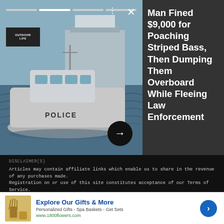[Figure (photo): Police boat on choppy water with a barge or ship in the background, Outdoor Life logo overlay in top-left corner]
Man Fined $9,000 for Poaching Striped Bass, Then Dumping Them Overboard While Fleeing Law Enforcement
DISCLAIMER(S)
Articles may contain affiliate links which enable us to share in the revenue of any purchases made.
Registration on or use of this site constitutes acceptance of our Terms of Service.
© 2022 Recurrent. All rights reserved.
Explore Our Gifts & More
Personalized Gifts - Spa Baskets - Get Sets
www.1800flowers.com